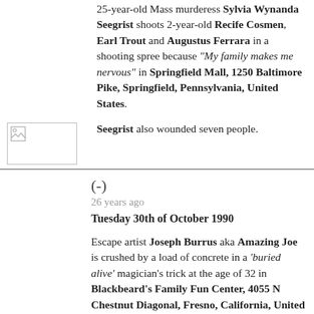25-year-old Mass murderess Sylvia Wynanda Seegrist shoots 2-year-old Recife Cosmen, Earl Trout and Augustus Ferrara in a shooting spree because "My family makes me nervous" in Springfield Mall, 1250 Baltimore Pike, Springfield, Pennsylvania, United States. Seegrist also wounded seven people.
[Figure (photo): Small broken/missing image placeholder icon]
(-)
26 years ago
Tuesday 30th of October 1990
Escape artist Joseph Burrus aka Amazing Joe is crushed by a load of concrete in a 'buried alive' magician's trick at the age of 32 in Blackbeard's Family Fun Center, 4055 N Chestnut Diagonal, Fresno, California, United States.
As trick-and-treaters watched in shock